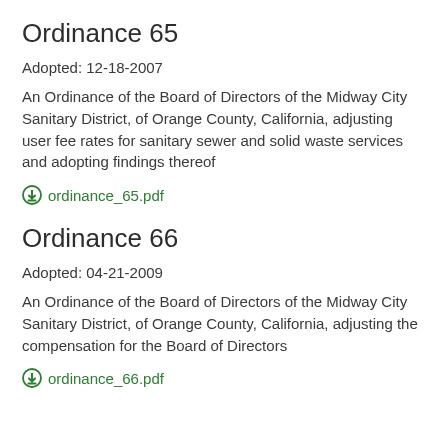Ordinance 65
Adopted: 12-18-2007
An Ordinance of the Board of Directors of the Midway City Sanitary District, of Orange County, California, adjusting user fee rates for sanitary sewer and solid waste services and adopting findings thereof
ordinance_65.pdf
Ordinance 66
Adopted: 04-21-2009
An Ordinance of the Board of Directors of the Midway City Sanitary District, of Orange County, California, adjusting the compensation for the Board of Directors
ordinance_66.pdf